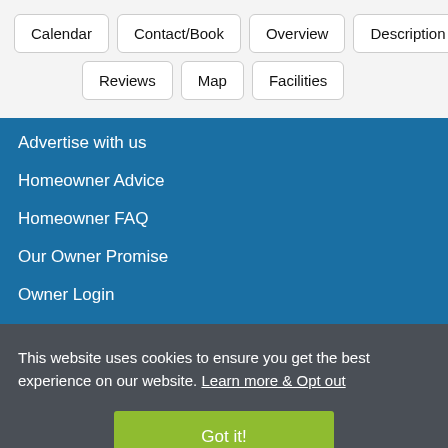Calendar
Contact/Book
Overview
Description
Reviews
Map
Facilities
Advertise with us
Homeowner Advice
Homeowner FAQ
Our Owner Promise
Owner Login
This website uses cookies to ensure you get the best experience on our website. Learn more & Opt out
Got it!